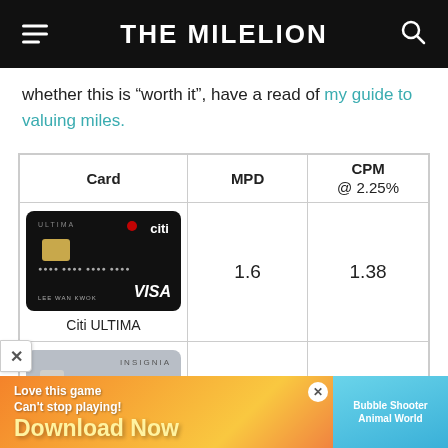THE MILELION
whether this is “worth it”, have a read of my guide to valuing miles.
| Card | MPD | CPM @ 2.25% |
| --- | --- | --- |
| Citi ULTIMA | 1.6 | 1.38 |
| [Insignia card] | 1.6 | 1.38 |